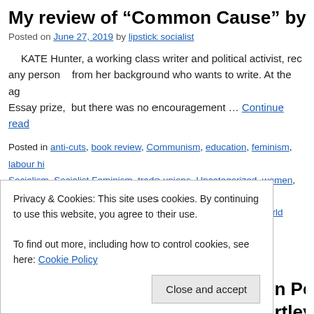My review of “Common Cause” by Kate H
Posted on June 27, 2019 by lipstick socialist
KATE Hunter, a working class writer and political activist, rec any person   from her background who wants to write. At the ag Essay prize,  but there was no encouragement … Continue read
Posted in anti-cuts, book review, Communism, education, feminism, labour hi Socialism, Socialist Feminism, trade unions, Uncategorized, women, working bedroom tax, Caseroom, Common Cause, Edinburgh, First World War., Jame compositors, Women’s Freedom League | 1 Comment
My review of “Labour Women in Power C Twentieth Century by Paula Bartley
Privacy & Cookies: This site uses cookies. By continuing to use this website, you agree to their use.
To find out more, including how to control cookies, see here: Cookie Policy